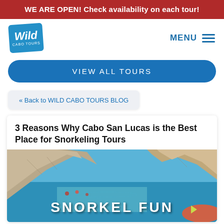WE ARE OPEN! Check availability on each tour!
[Figure (logo): Wild Cabo Tours logo — blue tilted rectangle with cursive 'Wild' and 'CABO TOURS' text]
MENU
VIEW ALL TOURS
« Back to WILD CABO TOURS BLOG
3 Reasons Why Cabo San Lucas is the Best Place for Snorkeling Tours
[Figure (photo): Coastal rocky cliffs of Cabo San Lucas with people snorkeling in blue-green water. Text overlay reads 'SNORKEL FUN' in white bold letters.]